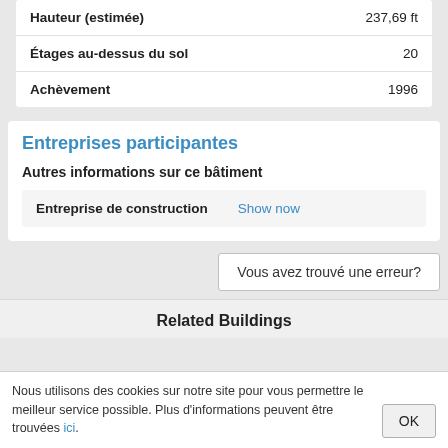| Label | Value |
| --- | --- |
| Hauteur (estimée) | 237,69 ft |
| Étages au-dessus du sol | 20 |
| Achèvement | 1996 |
Entreprises participantes
Autres informations sur ce bâtiment
| Entreprise de construction | Action |
| --- | --- |
| Entreprise de construction | Show now |
Vous avez trouvé une erreur?
Related Buildings
Nous utilisons des cookies sur notre site pour vous permettre le meilleur service possible. Plus d'informations peuvent être trouvées ici.